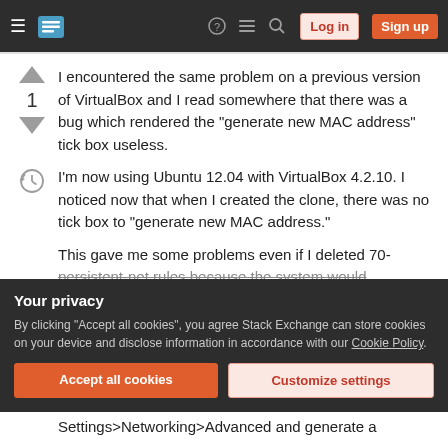Stack Exchange navigation header with Log in and Sign up buttons
I encountered the same problem on a previous version of VirtualBox and I read somewhere that there was a bug which rendered the "generate new MAC address" tick box useless.
I'm now using Ubuntu 12.04 with VirtualBox 4.2.10. I noticed now that when I created the clone, there was no tick box to "generate new MAC address."
This gave me some problems even if I deleted 70-persistent-net rules because the system would
Your privacy
By clicking "Accept all cookies", you agree Stack Exchange can store cookies on your device and disclose information in accordance with our Cookie Policy.
Accept all cookies   Customize settings
Settings>Networking>Advanced and generate a